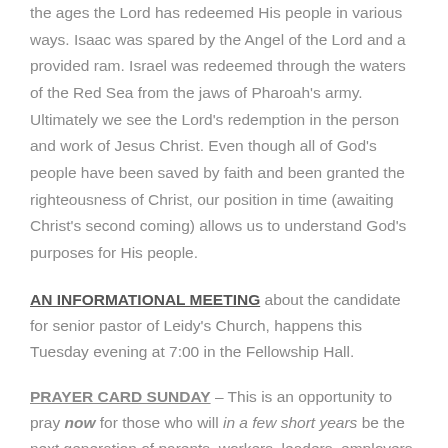the ages the Lord has redeemed His people in various ways. Isaac was spared by the Angel of the Lord and a provided ram. Israel was redeemed through the waters of the Red Sea from the jaws of Pharoah's army. Ultimately we see the Lord's redemption in the person and work of Jesus Christ. Even though all of God's people have been saved by faith and been granted the righteousness of Christ, our position in time (awaiting Christ's second coming) allows us to understand God's purposes for His people.
AN INFORMATIONAL MEETING about the candidate for senior pastor of Leidy's Church, happens this Tuesday evening at 7:00 in the Fellowship Hall.
PRAYER CARD SUNDAY – This is an opportunity to pray now for those who will in a few short years be the next generation of parents, workers, leaders, employers, teachers, and who